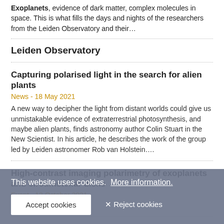Exoplanets, evidence of dark matter, complex molecules in space. This is what fills the days and nights of the researchers from the Leiden Observatory and their…
Leiden Observatory
Capturing polarised light in the search for alien plants
News - 18 May 2021
A new way to decipher the light from distant worlds could give us unmistakable evidence of extraterrestrial photosynthesis, and maybe alien plants, finds astronomy author Colin Stuart in the New Scientist. In his article, he describes the work of the group led by Leiden astronomer Rob van Holstein….
High-contrast imaging polarimetry of exoplanets and circumstellar disks
Event - 13 October 2021
PhD Defence
Spectroscopic characterization of exoplanets: From LOUPE to SINFONI
This website uses cookies.  More information.
Accept cookies   ✕ Reject cookies